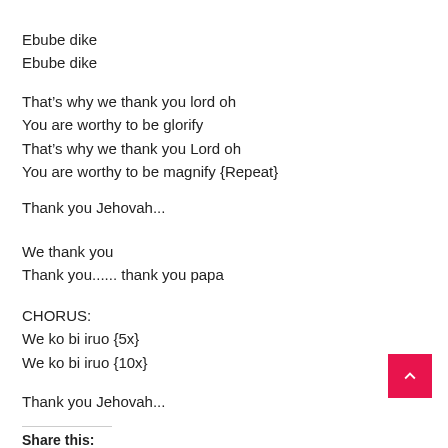Ebube dike
Ebube dike
That’s why we thank you lord oh
You are worthy to be glorify
That’s why we thank you Lord oh
You are worthy to be magnify {Repeat}
Thank you Jehovah...
We thank you
Thank you...... thank you papa
CHORUS:
We ko bi iruo {5x}
We ko bi iruo {10x}
Thank you Jehovah...
Share this: